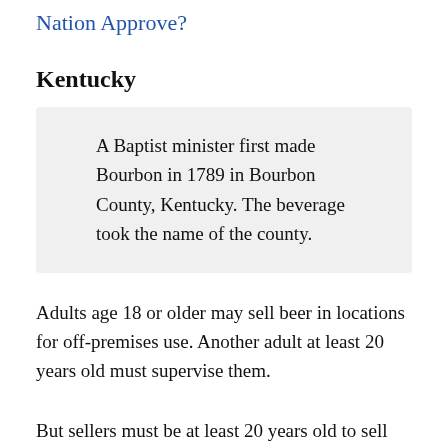Nation Approve?
Kentucky
A Baptist minister first made Bourbon in 1789 in Bourbon County, Kentucky. The beverage took the name of the county.
Adults age 18 or older may sell beer in locations for off-premises use. Another adult at least 20 years old must supervise them.
But sellers must be at least 20 years old to sell wine or spirits for drinking off-premises